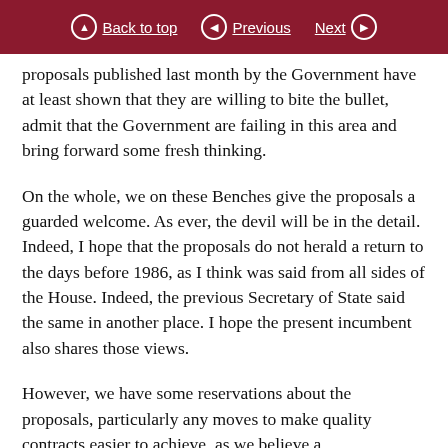Back to top   Previous   Next
proposals published last month by the Government have at least shown that they are willing to bite the bullet, admit that the Government are failing in this area and bring forward some fresh thinking.
On the whole, we on these Benches give the proposals a guarded welcome. As ever, the devil will be in the detail. Indeed, I hope that the proposals do not herald a return to the days before 1986, as I think was said from all sides of the House. Indeed, the previous Secretary of State said the same in another place. I hope the present incumbent also shares those views.
However, we have some reservations about the proposals, particularly any moves to make quality contracts easier to achieve, as we believe a